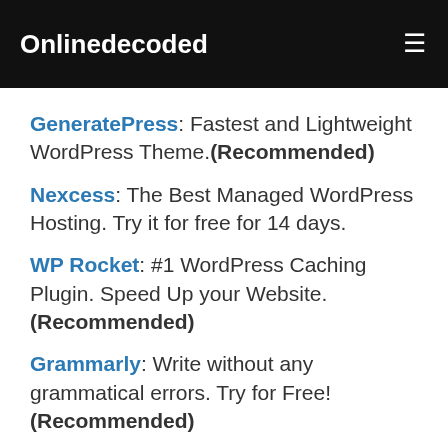Onlinedecoded
GeneratePress: Fastest and Lightweight WordPress Theme.(Recommended)
Nexcess: The Best Managed WordPress Hosting. Try it for free for 14 days.
WP Rocket: #1 WordPress Caching Plugin. Speed Up your Website. (Recommended)
Grammarly: Write without any grammatical errors. Try for Free! (Recommended)
116 Shares | 89 Facebook | 13 Twitter | 0 Pinterest | +